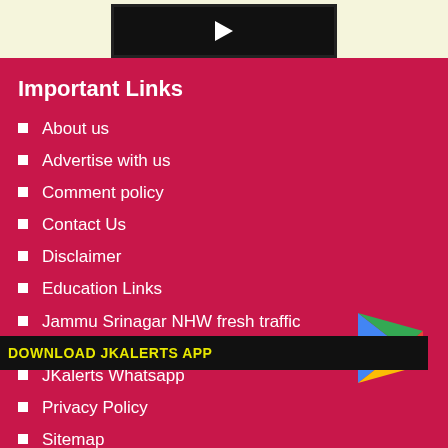[Figure (screenshot): Dark video thumbnail with play button, shown at top of page on cream background]
Important Links
About us
Advertise with us
Comment policy
Contact Us
Disclaimer
Education Links
Jammu Srinagar NHW fresh traffic update.
JKalerts Whatsapp
Privacy Policy
Sitemap
[Figure (logo): Google Play Store triangular logo icon in blue, green, and red/yellow]
DOWNLOAD JKALERTS APP